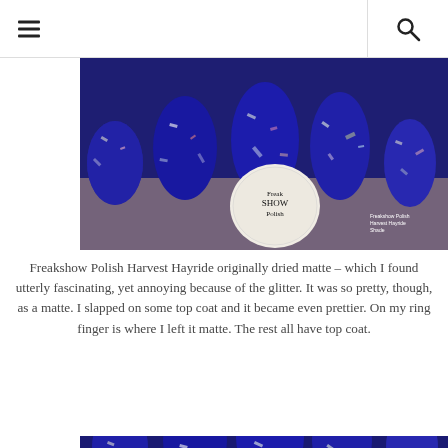navigation menu and search icons
[Figure (photo): Close-up of fingernails painted with Freakshow Polish Harvest Hayride, a deep blue glitter nail polish with multicolored flakes. A round white bottle label reading 'Freakshow Polish' is visible. A small label in the corner reads 'Freakshow Polish Harvest Hayride Shade'.]
Freakshow Polish Harvest Hayride originally dried matte – which I found utterly fascinating, yet annoying because of the glitter. It was so pretty, though, as a matte. I slapped on some top coat and it became even prettier. On my ring finger is where I left it matte. The rest all have top coat.
[Figure (photo): Close-up of fingernails painted with Freakshow Polish Harvest Hayride blue glitter nail polish, showing the partial view of multiple nails with colorful glitter flakes on a deep blue base.]